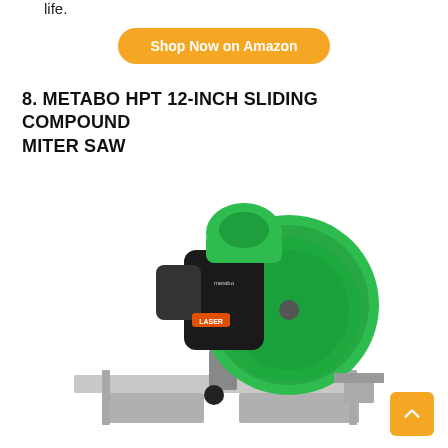life.
Shop Now on Amazon
8. METABO HPT 12-INCH SLIDING COMPOUND MITER SAW
[Figure (photo): Metabo HPT 12-inch sliding compound miter saw with green and black body, laser guide, and silver base/fence, photographed on white background.]